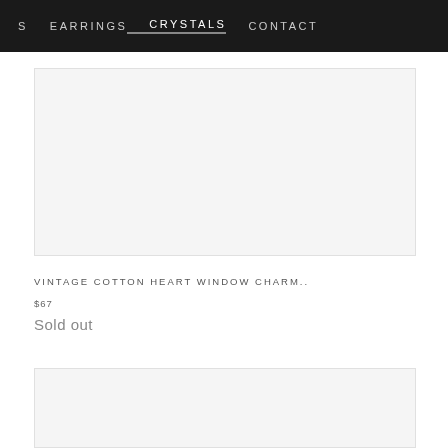S  EARRINGS  CRYSTALS  CONTACT
[Figure (photo): Product image placeholder — light gray rectangle for vintage cotton heart window charm product]
VINTAGE COTTON HEART WINDOW CHARM..
$67
Sold out
[Figure (photo): Second product image placeholder — light gray rectangle at bottom of page]